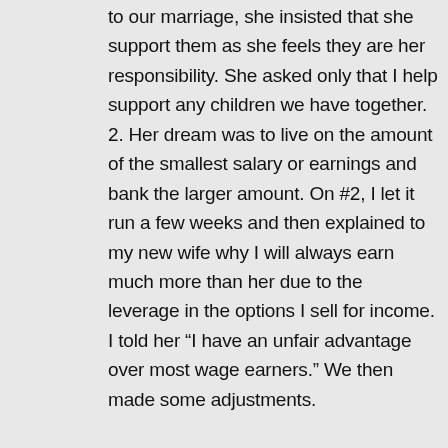to our marriage, she insisted that she support them as she feels they are her responsibility. She asked only that I help support any children we have together. 2. Her dream was to live on the amount of the smallest salary or earnings and bank the larger amount. On #2, I let it run a few weeks and then explained to my new wife why I will always earn much more than her due to the leverage in the options I sell for income. I told her “I have an unfair advantage over most wage earners.” We then made some adjustments.
Once we settled into the everyday pattern of our marriage, I suggested that I support the entire home witch I was doing anyway before my wife came into my life. The only difference would be an